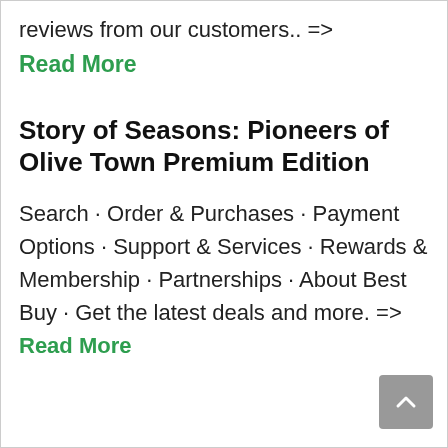reviews from our customers.. =>
Read More
Story of Seasons: Pioneers of Olive Town Premium Edition
Search · Order & Purchases · Payment Options · Support & Services · Rewards & Membership · Partnerships · About Best Buy · Get the latest deals and more. => Read More